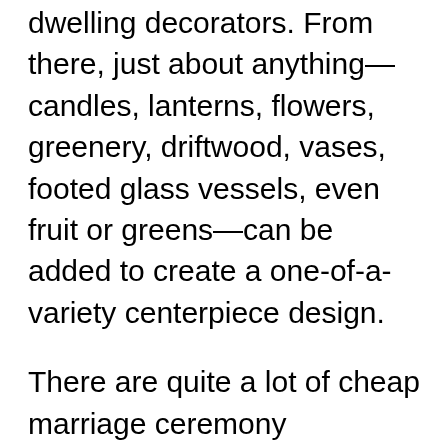dwelling decorators. From there, just about anything—candles, lanterns, flowers, greenery, driftwood, vases, footed glass vessels, even fruit or greens—can be added to create a one-of-a-variety centerpiece design.
There are quite a lot of cheap marriage ceremony decoration ideas a savvy couple can reap the benefits of to have a stupendous marriage ceremony for a primary budget. Select from a surprising collection of wedding ceremony decorations including paper decorations, chair covers, wedding desk decorations, balloons and extra.